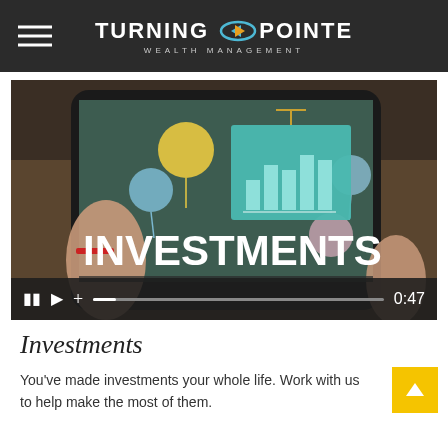Turning Pointe Wealth Management
[Figure (screenshot): Video player screenshot showing a smartphone screen displaying an investments animation with colorful balloons and a bar chart graphic. The word INVESTMENTS appears in large white bold text. Video controls are visible at the bottom with a progress bar and timestamp 0:47.]
Investments
You've made investments your whole life. Work with us to help make the most of them.